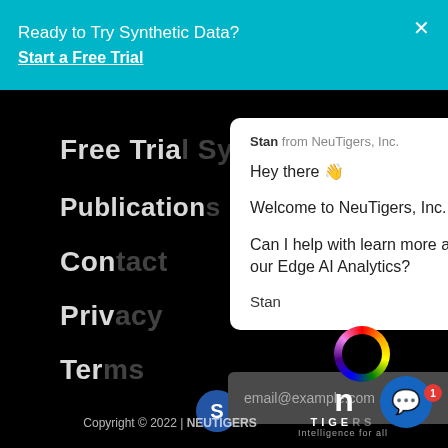Ready to Try Synthetic Data?   ×
Start a Free Trial
Free Trial Synthetic Data
Publications
Contact
Privacy
Terms
[Figure (screenshot): Chat popup from Stan from NeuTigers, Inc. with messages: Hey there 👋, Welcome to NeuTigers, Inc. 🙌, Can I help with learn more about our Edge AI Analytics?, Stan]
Copyright © 2022 | NEUTIGERS